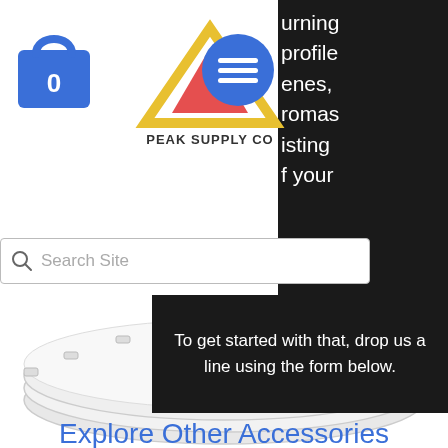[Figure (logo): Peak Supply Co logo: yellow/red triangle mountain with text PEAK SUPPLY CO below]
[Figure (illustration): Blue shopping bag icon with number 0 in white]
[Figure (illustration): Blue circle hamburger menu button with three white horizontal lines]
urning profile enes, romas isting f your
Search Site
To get started with that, drop us a line using the form below.
Explore Other Accessories
Get Cure Egg
[Figure (photo): White plastic product (Cure Egg container lid) shown from above]